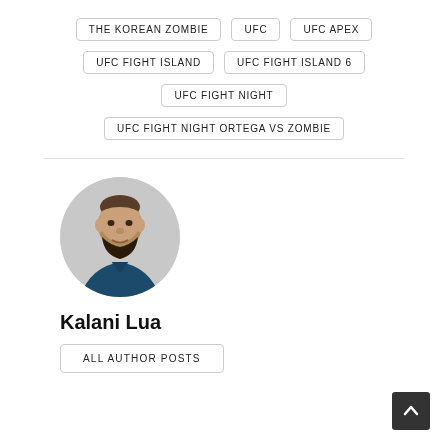THE KOREAN ZOMBIE
UFC
UFC APEX
UFC FIGHT ISLAND
UFC FIGHT ISLAND 6
UFC FIGHT NIGHT
UFC FIGHT NIGHT ORTEGA VS ZOMBIE
[Figure (photo): Circular profile photo of a bald man with a dark beard wearing a dark blue shirt, against a light grey background.]
Kalani Lua
ALL AUTHOR POSTS